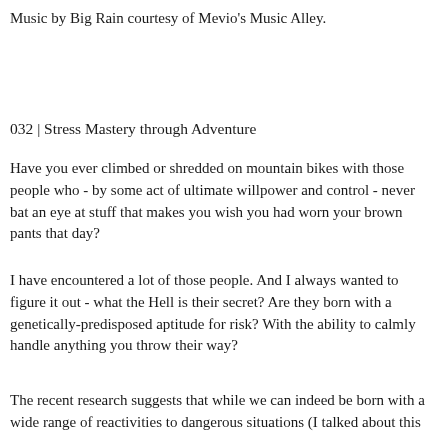Music by Big Rain courtesy of Mevio's Music Alley.
032 | Stress Mastery through Adventure
Have you ever climbed or shredded on mountain bikes with those people who - by some act of ultimate willpower and control - never bat an eye at stuff that makes you wish you had worn your brown pants that day?
I have encountered a lot of those people. And I always wanted to figure it out - what the Hell is their secret? Are they born with a genetically-predisposed aptitude for risk? With the ability to calmly handle anything you throw their way?
The recent research suggests that while we can indeed be born with a wide range of reactivities to dangerous situations (I talked about this